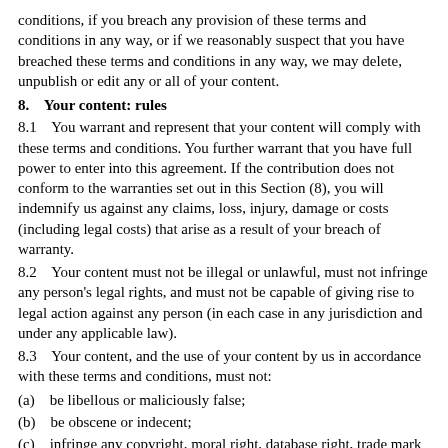conditions, if you breach any provision of these terms and conditions in any way, or if we reasonably suspect that you have breached these terms and conditions in any way, we may delete, unpublish or edit any or all of your content.
8.    Your content: rules
8.1    You warrant and represent that your content will comply with these terms and conditions. You further warrant that you have full power to enter into this agreement. If the contribution does not conform to the warranties set out in this Section (8), you will indemnify us against any claims, loss, injury, damage or costs (including legal costs) that arise as a result of your breach of warranty.
8.2    Your content must not be illegal or unlawful, must not infringe any person's legal rights, and must not be capable of giving rise to legal action against any person (in each case in any jurisdiction and under any applicable law).
8.3    Your content, and the use of your content by us in accordance with these terms and conditions, must not:
(a)    be libellous or maliciously false;
(b)    be obscene or indecent;
(c)    infringe any copyright, moral right, database right, trade mark right, design right, right in passing off, or other intellectual property right;
(d)    infringe any right of confidence, right of privacy or right under data protection legislation;